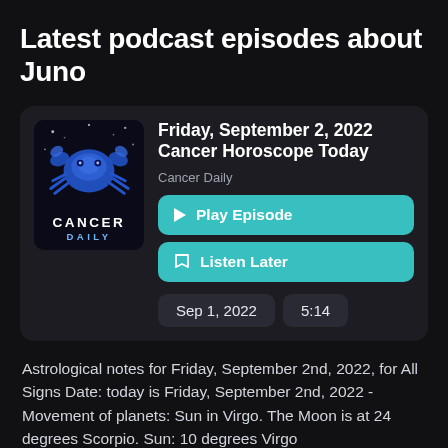Latest podcast episodes about Juno
[Figure (logo): Cancer Daily podcast logo: blue crab illustration on dark background with 'CANCER' in white and 'DAILY' in blue below]
Friday, September 2, 2022 Cancer Horoscope Today
Cancer Daily
Play Episode
Listen Later
Sep 1, 2022
5:14
Astrological notes for Friday, September 2nd, 2022, for All Signs Date: today is Friday, September 2nd, 2022 - Movement of planets: Sun in Virgo. The Moon is at 24 degrees Scorpio. Sun: 10 degrees Virgo